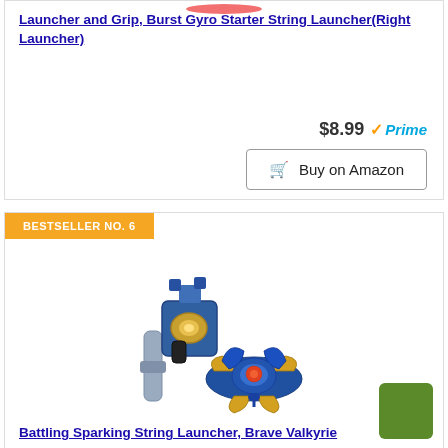Launcher and Grip, Burst Gyro Starter String Launcher(Right Launcher)
$8.99 Prime
Buy on Amazon
BESTSELLER NO. 6
[Figure (photo): Beyblade toy set with a blue and gold spinning top (Brave Valkyrie) and a blue string launcher/grip]
Battling Sparking String Launcher, Brave Valkyrie